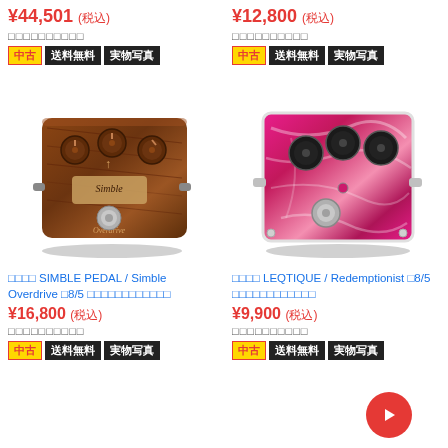¥44,501 (税込)
□□□□□□□□□□
中古 送料無料 実物写真
¥12,800 (税込)
□□□□□□□□□□
中古 送料無料 実物写真
[Figure (photo): Brown wooden guitar effects pedal labeled Simble Overdrive with multiple brown knobs]
[Figure (photo): Pink/red marbled guitar effects pedal with black knobs]
□□□□ SIMBLE PEDAL / Simble Overdrive □8/5 □□□□□□□□□□□□
¥16,800 (税込)
□□□□□□□□□□
中古 送料無料 実物写真
□□□□ LEQTIQUE / Redemptionist □8/5 □□□□□□□□□□□□
¥9,900 (税込)
□□□□□□□□□□
中古 送料無料 実物写真